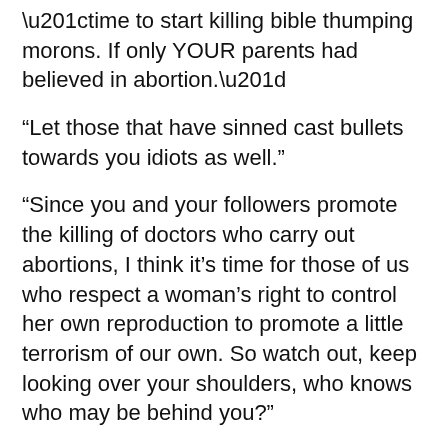“time to start killing bible thumping morons. If only YOUR parents had believed in abortion.”
“Let those that have sinned cast bullets towards you idiots as well.”
“Since you and your followers promote the killing of doctors who carry out abortions, I think it’s time for those of us who respect a woman’s right to control her own reproduction to promote a little terrorism of our own. So watch out, keep looking over your shoulders, who knows who may be behind you?”
“I eagerly await the day that I see your blood on someone’s hands.”
Below is a picture of a death threat letter received by Operation R...